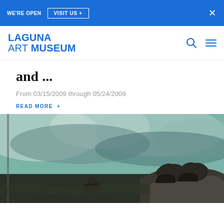WE'RE OPEN   VISIT US +   ×
[Figure (logo): Laguna Art Museum logo in blue]
and ...
From 03/15/2009 through 05/24/2009
READ MORE +
[Figure (photo): A painting depicting a figure crouching near horses against a dramatic cloudy seascape background]